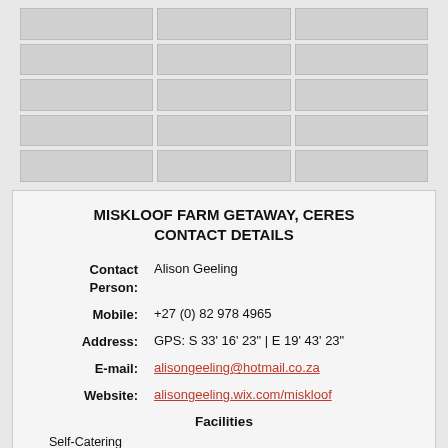[Figure (table-as-image): Grid of photo thumbnails, 5 rows × 3 columns, all appearing as light gray placeholder cells]
MISKLOOF FARM GETAWAY, CERES
CONTACT DETAILS
| Contact Person: | Alison Geeling |
| Mobile: | +27 (0) 82 978 4965 |
| Address: | GPS: S 33' 16' 23" | E 19' 43' 23" |
| E-mail: | alisongeeling@hotmail.co.za |
| Website: | alisongeeling.wix.com/miskloof |
Facilities
Self-Catering
Braai facility